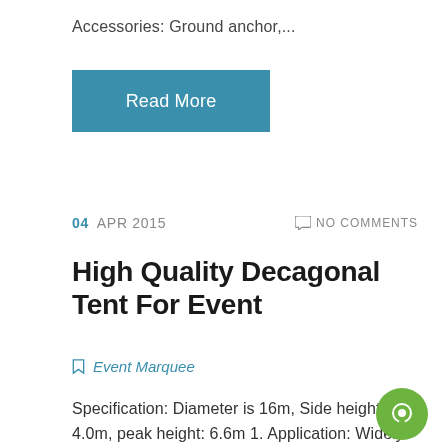Accessories: Ground anchor,...
Read More
04 APR 2015   NO COMMENTS
High Quality Decagonal Tent For Event
Event Marquee
Specification: Diameter is 16m, Side height: 4.0m, peak height: 6.6m 1. Application: Widely used for party, wedding, exhibition, reception, ceremony and commercial presentation etc. 2. High Quality 16m Decagonal Tent belongs to the BT series For details, pls refer to below chart: Main frame profile size for BT series: 204X120X4mm Wind